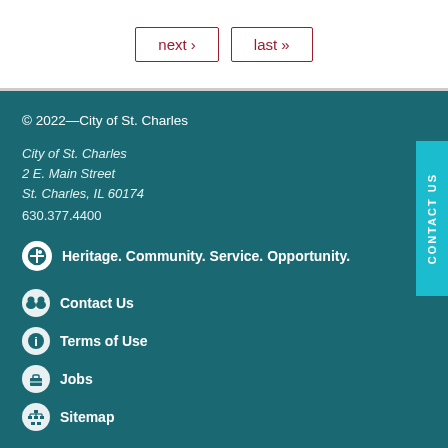next › last »
© 2022—City of St. Charles
City of St. Charles
2 E. Main Street
St. Charles, IL 60174
630.377.4400
Heritage. Community. Service. Opportunity.
Contact Us
Terms of Use
Jobs
Sitemap
CONTACT US